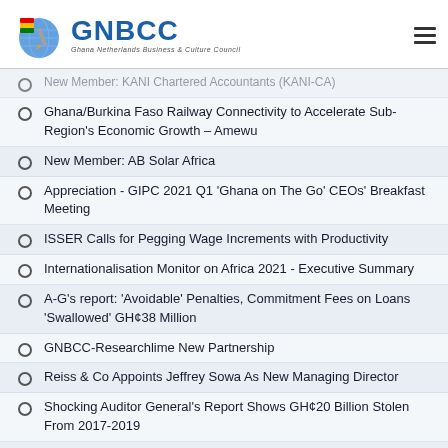GNBCC Ghana Netherlands Business & Culture Council
New Member: KANI Chartered Accountants (KANI-CA)
Ghana/Burkina Faso Railway Connectivity to Accelerate Sub-Region's Economic Growth – Amewu
New Member: AB Solar Africa
Appreciation - GIPC 2021 Q1 'Ghana on The Go' CEOs' Breakfast Meeting
ISSER Calls for Pegging Wage Increments with Productivity
Internationalisation Monitor on Africa 2021 - Executive Summary
A-G's report: 'Avoidable' Penalties, Commitment Fees on Loans 'Swallowed' GH¢38 Million
GNBCC-Researchlime New Partnership
Reiss & Co Appoints Jeffrey Sowa As New Managing Director
Shocking Auditor General's Report Shows GH¢20 Billion Stolen From 2017-2019